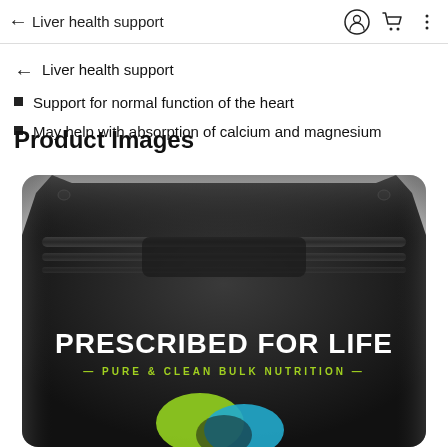May help with the metabolism B9 and B12
Liver health support
Support for normal function of the heart
May help with absorption of calcium and magnesium
Product Images
[Figure (photo): Black resealable pouch bag with 'PRESCRIBED FOR LIFE — PURE & CLEAN BULK NUTRITION —' branding and green/blue logo at the bottom.]